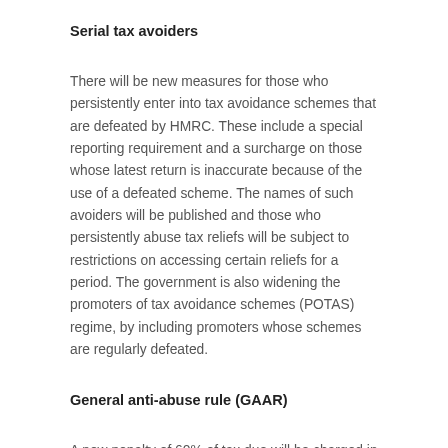Serial tax avoiders
There will be new measures for those who persistently enter into tax avoidance schemes that are defeated by HMRC. These include a special reporting requirement and a surcharge on those whose latest return is inaccurate because of the use of a defeated scheme. The names of such avoiders will be published and those who persistently abuse tax reliefs will be subject to restrictions on accessing certain reliefs for a period. The government is also widening the promoters of tax avoidance schemes (POTAS) regime, by including promoters whose schemes are regularly defeated.
General anti-abuse rule (GAAR)
A new penalty of 60% of tax due will be charged in all cases successfully tackled by the GAAR. The government will also make small changes to the way the GAAR works.